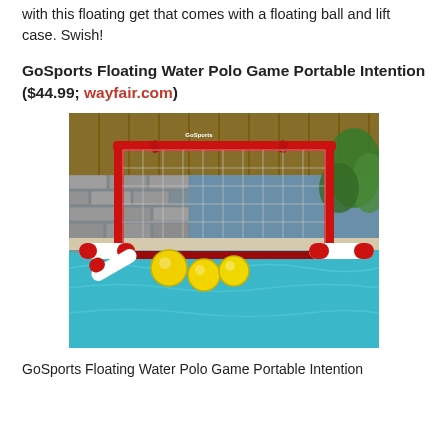with this floating get that comes with a floating ball and lift case. Swish!
GoSports Floating Water Polo Game Portable Intention ($44.99; wayfair.com)
[Figure (photo): A red GoSports floating water polo goal net floating in a pool, with yellow balls in front, white cylindrical floats attached to the base, and a stone wall and wooden fence in the background.]
GoSports Floating Water Polo Game Portable Intention